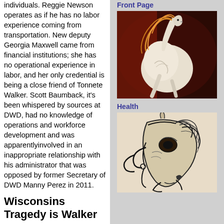individuals. Reggie Newson operates as if he has no labor experience coming from transportation. New deputy Georgia Maxwell came from financial institutions; she has no operational experience in labor, and her only credential is being a close friend of Tonnete Walker. Scott Baumback, it's been whispered by sources at DWD, had no knowledge of operations and workforce development and was apparentlyinvolved in an inappropriate relationship with his administrator that was opposed by former Secretary of DWD Manny Perez in 2011.
Wisconsins Tragedy is Walker
The reality is that, under Walker's leadership,
Front Page
[Figure (illustration): Painting of a white rearing horse with swirling mane in red and dark background]
Health
[Figure (illustration): Sketch/drawing of a horse head with bridle, dark ink on light background]